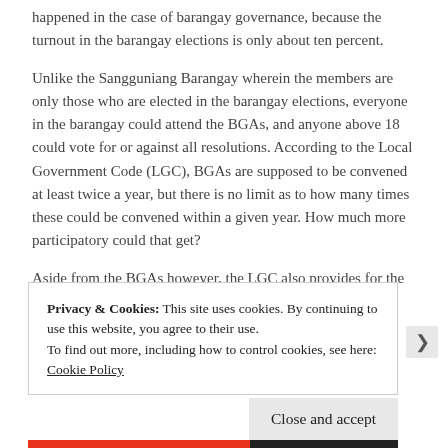happened in the case of barangay governance, because the turnout in the barangay elections is only about ten percent.
Unlike the Sangguniang Barangay wherein the members are only those who are elected in the barangay elections, everyone in the barangay could attend the BGAs, and anyone above 18 could vote for or against all resolutions. According to the Local Government Code (LGC), BGAs are supposed to be convened at least twice a year, but there is no limit as to how many times these could be convened within a given year. How much more participatory could that get?
Aside from the BGAs however, the LGC also provides for the creation and activation of Barangay Development Councils (BDCs), a formal body wherein about half of its members should come from the private
Privacy & Cookies: This site uses cookies. By continuing to use this website, you agree to their use.
To find out more, including how to control cookies, see here: Cookie Policy
Close and accept